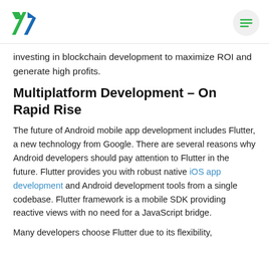AC logo and menu button
investing in blockchain development to maximize ROI and generate high profits.
Multiplatform Development – On Rapid Rise
The future of Android mobile app development includes Flutter, a new technology from Google. There are several reasons why Android developers should pay attention to Flutter in the future. Flutter provides you with robust native iOS app development and Android development tools from a single codebase. Flutter framework is a mobile SDK providing reactive views with no need for a JavaScript bridge.
Many developers choose Flutter due to its flexibility,